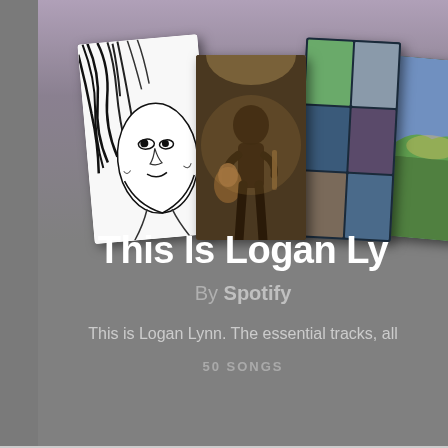[Figure (illustration): Spotify 'This Is Logan Lynn' playlist page showing overlapping album covers: a black-and-white illustrated face, a performer with guitar, a grid of portrait photos, and a landscape image, arranged in a fan/stack layout against a gray-purple gradient background.]
This Is Logan Ly...
By Spotify
This is Logan Lynn. The essential tracks, all
50 SONGS